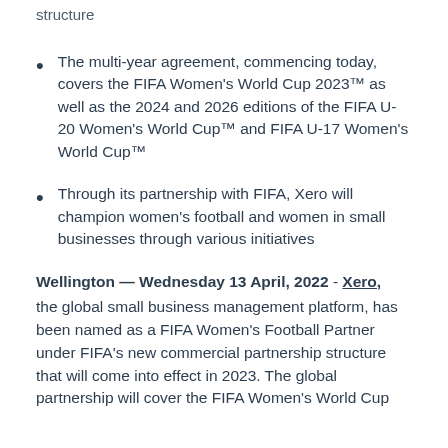structure
The multi-year agreement, commencing today, covers the FIFA Women's World Cup 2023™ as well as the 2024 and 2026 editions of the FIFA U-20 Women's World Cup™ and FIFA U-17 Women's World Cup™
Through its partnership with FIFA, Xero will champion women's football and women in small businesses through various initiatives
Wellington — Wednesday 13 April, 2022 - Xero, the global small business management platform, has been named as a FIFA Women's Football Partner under FIFA's new commercial partnership structure that will come into effect in 2023. The global partnership will cover the FIFA Women's World Cup